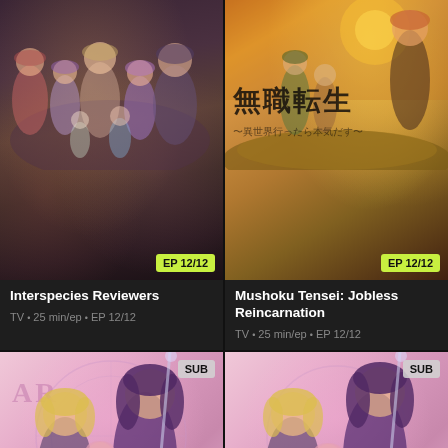[Figure (screenshot): Anime thumbnail for Interspecies Reviewers showing group of anime characters with EP 12/12 badge]
Interspecies Reviewers
TV • 25 min/ep • EP 12/12
[Figure (screenshot): Anime thumbnail for Mushoku Tensei: Jobless Reincarnation showing sunset scene with Japanese text and EP 12/12 badge]
Mushoku Tensei: Jobless Reincarnation
TV • 25 min/ep • EP 12/12
[Figure (screenshot): Anime thumbnail with pink background showing female anime characters with SUB badge]
[Figure (screenshot): Anime thumbnail with pink background showing female anime characters with SUB badge, slightly different crop]